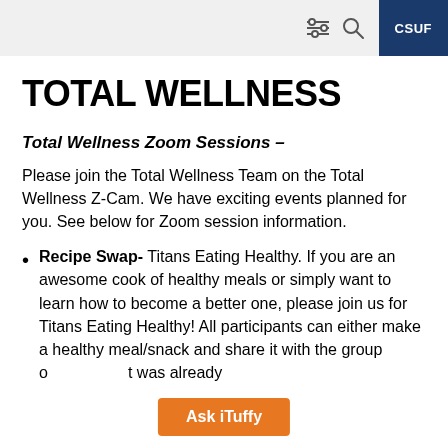CSUF
TOTAL WELLNESS
Total Wellness Zoom Sessions –
Please join the Total Wellness Team on the Total Wellness Z-Cam. We have exciting events planned for you. See below for Zoom session information.
Recipe Swap- Titans Eating Healthy. If you are an awesome cook of healthy meals or simply want to learn how to become a better one, please join us for Titans Eating Healthy! All participants can either make a healthy meal/snack and share it with the group o... t was already